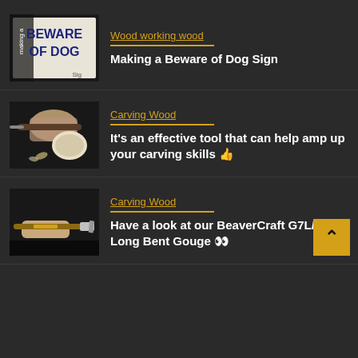[Figure (screenshot): Thumbnail of a wooden beware of dog sign with blue painted letters]
Wood working wood
Making a Beware of Dog Sign
[Figure (screenshot): Thumbnail of hands using a wood carving tool on a piece of wood]
Carving Wood
It's an effective tool that can help amp up your carving skills 👍
[Figure (screenshot): Thumbnail of a hand holding a BeaverCraft long bent gouge tool]
Carving Wood
Have a look at our BeaverCraft G7L/22 Long Bent Gouge 👀